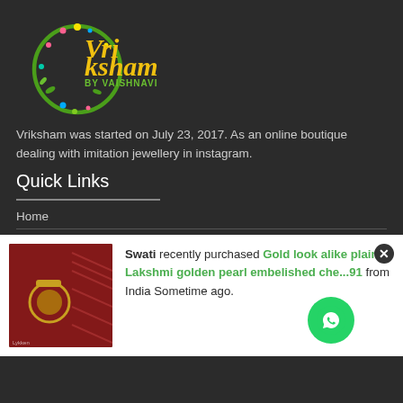[Figure (logo): Vriksham by Vaishnavi logo — decorative circular design with colorful leaves/flowers and yellow stylized text 'Vriksham' with green subtitle 'BY VAISHNAVI']
Vriksham was started on July 23, 2017. As an online boutique dealing with imitation jewellery in instagram.
Quick Links
Home
Swati recently purchased Gold look alike plain Lakshmi golden pearl embelished che... 91 from India Sometime ago.